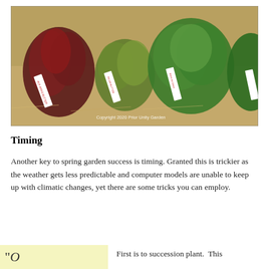[Figure (photo): Photograph of multiple lettuce varieties growing in a garden bed with straw mulch, each labeled with a white plant marker. Visible labels include 'Arkansas Butter', 'Pilgrim Butter', 'Reine de Glace', and another partially visible. Copyright 2020 Prior Unity Garden watermark visible.]
Timing
Another key to spring garden success is timing. Granted this is trickier as the weather gets less predictable and computer models are unable to keep up with climatic changes, yet there are some tricks you can employ.
First is to succession plant.  This